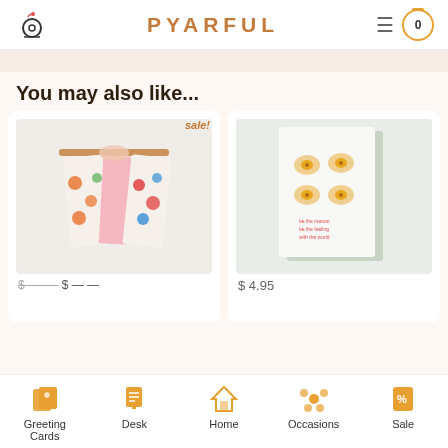PYARFUL — navigation header with logo, hamburger menu, and cart icon showing 0
You may also like...
[Figure (photo): Product card showing colorful printed dish towels hanging on a wooden rod, with a 'sale!' badge]
[Figure (photo): Greeting card with illustrated fried eggs design and small text, priced at $4.95]
$4.95
Bottom navigation: Greeting Cards, Desk, Home, Occasions, Sale